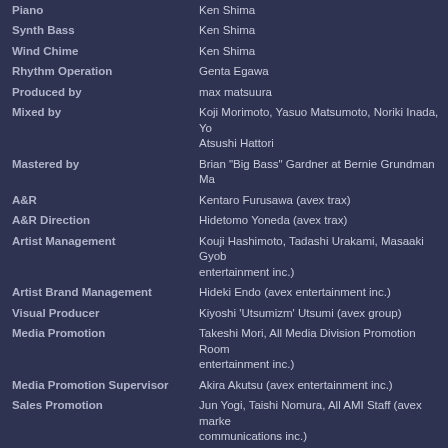| Role | Name |
| --- | --- |
| Piano | Ken Shima |
| Synth Bass | Ken Shima |
| Wind Chime | Ken Shima |
| Rhythm Operation | Genta Egawa |
| Produced by | max matsuura |
| Mixed by | Koji Morimoto, Yasuo Matsumoto, Noriki Inada, Yo... Atsushi Hattori |
| Mastered by | Brian "Big Bass" Gardner at Bernie Grundman Ma... |
| A&R | Kentaro Furusawa (avex trax) |
| A&R Direction | Hidetomo Yoneda (avex trax) |
| Artist Management | Kouji Hashimoto, Tadashi Urakami, Masaaki Gyob... entertainment inc.) |
| Artist Brand Management | Hideki Endo (avex entertainment inc.) |
| Visual Producer | Kiyoshi 'Utsumizm' Utsumi (avex group) |
| Media Promotion | Takeshi Mori, All Media Division Promotion Room... entertainment inc.) |
| Media Promotion Supervisor | Akira Akutsu (avex entertainment inc.) |
| Sales Promotion | Jun Yogi, Taishi Nomura, All AMI Staff (avex mark... communications inc.) |
| Contents Coordination | Shunsuke Abe (avex network inc.) |
| Web Designer | Yukiko Ito (avex network inc.) |
| A&R Desk | Miki Endo (avex entertainment inc.) |
| A&R Supervisor | Hiroshi Ishimori, Takashi Okuda (avex trax) |
| A&R Executive Supervisor | Jun Harada (avex trax) |
| Advisory Producers | Motohiro Abe (avex entertainment inc.), Yoshihisa... live creative inc.) |
| General Producers | Shinji Hayashi, Takashi Araki, Ryuhei Chiba (avex... |
| Art Direction | Shinichi Hara |
| Design | Tomokazu Suzuki (momoya) |
| Creative Coordination | Naoki Ueda (avex marketing communications inc.) |
| CG Treatment | Makoto Harikae, Hiroko Tanaka, Hiroki Yura (ama... |